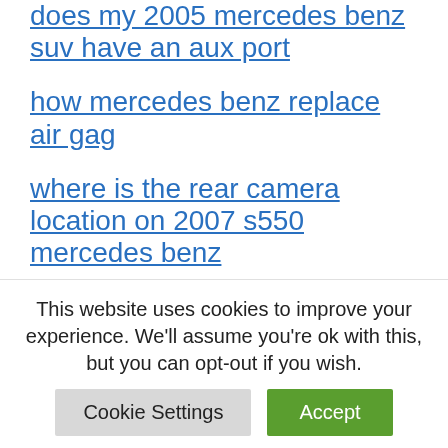does my 2005 mercedes benz suv have an aux port
how mercedes benz replace air gag
where is the rear camera location on 2007 s550 mercedes benz
what does the c and s button on a mercedes benz gear shift mean
how to replace x4/10 fuse block mercedes benz
how much does mercedes-benz
This website uses cookies to improve your experience. We'll assume you're ok with this, but you can opt-out if you wish.
Cookie Settings | Accept